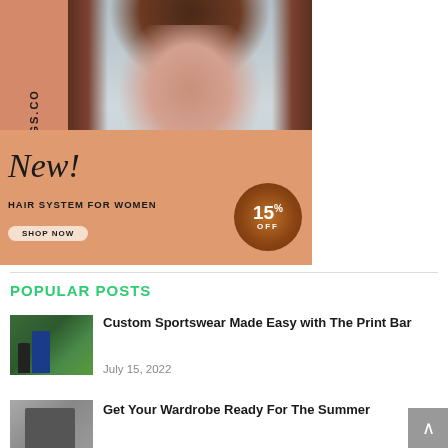[Figure (photo): Advertisement for Uniwigs.com showing a woman with brown hair, promoting a new hair system for women with 15% off discount badge and Shop Now button]
POPULAR POSTS
[Figure (photo): Thumbnail image of a soccer/football player on a green field]
Custom Sportswear Made Easy with The Print Bar
July 15, 2022
[Figure (photo): Thumbnail image for wardrobe summer post]
Get Your Wardrobe Ready For The Summer